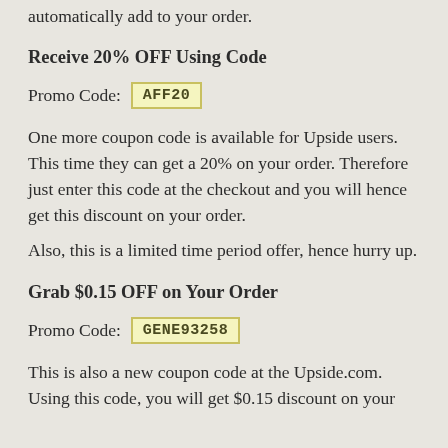time of confirming your order and your discount will automatically add to your order.
Receive 20% OFF Using Code
Promo Code: AFF20
One more coupon code is available for Upside users. This time they can get a 20% on your order. Therefore just enter this code at the checkout and you will hence get this discount on your order.
Also, this is a limited time period offer, hence hurry up.
Grab $0.15 OFF on Your Order
Promo Code: GENE93258
This is also a new coupon code at the Upside.com. Using this code, you will get $0.15 discount on your